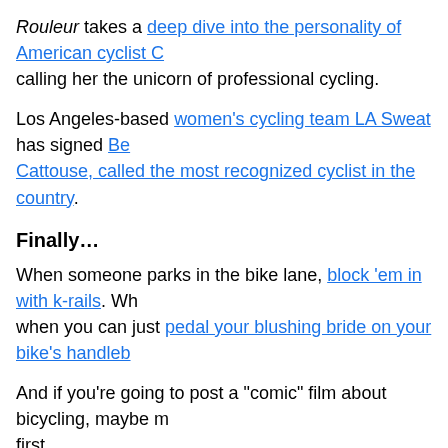Rouleur takes a deep dive into the personality of American cyclist calling her the unicorn of professional cycling.
Los Angeles-based women's cycling team LA Sweat has signed Cattouse, called the most recognized cyclist in the country.
Finally…
When someone parks in the bike lane, block 'em in with k-rails. Wh when you can just pedal your blushing bride on your bike's handleb
And if you're going to post a "comic" film about bicycling, maybe m first.
[Figure (screenshot): Embedded tweet from Nick Freeman (@TheMrLoophole) with Follow button. Tweet text: SPOOF ALERT: This is a comic film and events fictitious. But has serious message about failings cycling law. Please watch and sign our petition]